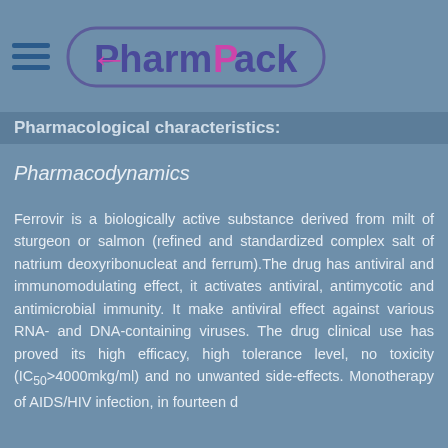PharmPack
Pharmacological characteristics:
Pharmacodynamics
Ferrovir is a biologically active substance derived from milt of sturgeon or salmon (refined and standardized complex salt of natrium deoxyribonucleat and ferrum).The drug has antiviral and immunomodulating effect, it activates antiviral, antimycotic and antimicrobial immunity. It make antiviral effect against various RNA- and DNA-containing viruses. The drug clinical use has proved its high efficacy, high tolerance level, no toxicity (IC50>4000mkg/ml) and no unwanted side-effects. Monotherapy of AIDS/HIV infection, in fourteen d...